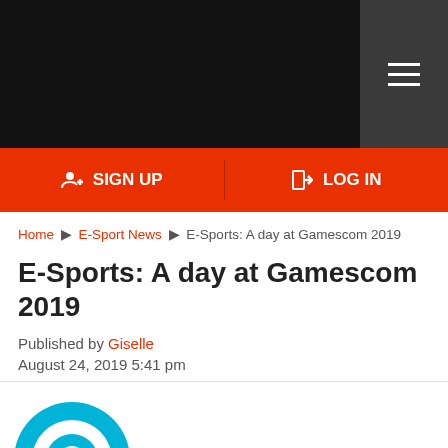Navigation bar with hamburger menu
SIGN UP | LOG IN
Home > E-Sport News > E-Sports: A day at Gamescom 2019
E-Sports: A day at Gamescom 2019
Published by Giselle
August 24, 2019 5:41 pm
[Figure (logo): Gamescom logo with cyan circle/location pin icon and purple 'gamescom' text with cyan 'com' ending]